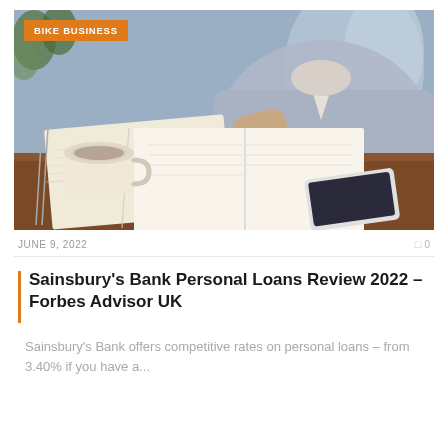[Figure (photo): Person writing in a notebook at a wooden desk with a coffee cup, another open notebook, and a smartphone visible]
BIKE BUSINESS
JUNE 9, 2022   0
Sainsbury's Bank Personal Loans Review 2022 – Forbes Advisor UK
Sainsbury's Bank offers competitive rates on personal loans – from 3.40% if you have a...